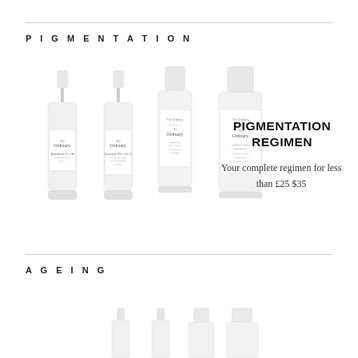PIGMENTATION
[Figure (photo): Four The Ordinary skincare products arranged in a row: two dropper bottles and two tubes, all in white minimalist packaging]
PIGMENTATION REGIMEN
Your complete regimen for less than £25 $35
AGEING
[Figure (photo): Partial view of The Ordinary skincare product bottles at the bottom of the page]